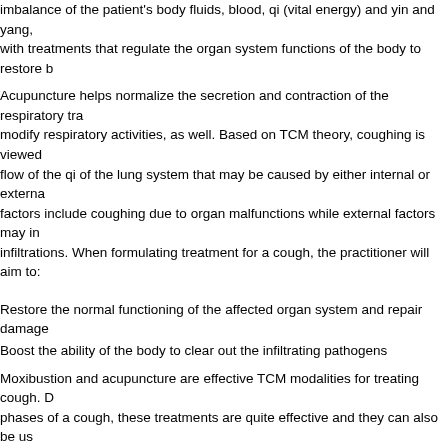imbalance of the patient's body fluids, blood, qi (vital energy) and yin and yang, with treatments that regulate the organ system functions of the body to restore b
Acupuncture helps normalize the secretion and contraction of the respiratory tra modify respiratory activities, as well. Based on TCM theory, coughing is viewed flow of the qi of the lung system that may be caused by either internal or externa factors include coughing due to organ malfunctions while external factors may in infiltrations. When formulating treatment for a cough, the practitioner will aim to:
Restore the normal functioning of the affected organ system and repair damage
Boost the ability of the body to clear out the infiltrating pathogens
Moxibustion and acupuncture are effective TCM modalities for treating cough. D phases of a cough, these treatments are quite effective and they can also be us forms of treatment for stubborn cough. With the right stimulating procedures and selection, moxibustion and acupuncture can restore the normal movement of lu cough. Listed below are various protocols for killing cough:
Primary acupuncture points
Bl 13 – the back conveyance acupoint of the lung meridian. The needling of this normal lung qi flow and removes accumulated pathogens.
Cv 22 – this acupoint is situated in the throat area and is a conception vessel m needled, it stimulates the local area or the affected organs and tissues nearby.
Secondary acupuncture points that are used based on certain patterns of disha